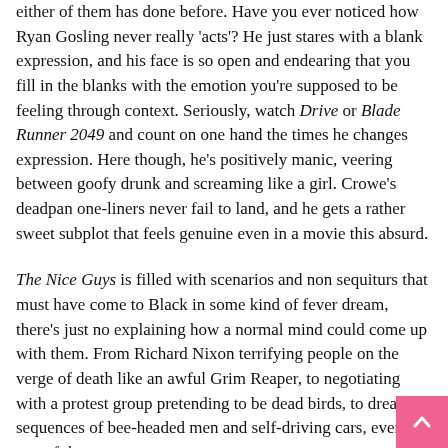either of them has done before. Have you ever noticed how Ryan Gosling never really 'acts'? He just stares with a blank expression, and his face is so open and endearing that you fill in the blanks with the emotion you're supposed to be feeling through context. Seriously, watch Drive or Blade Runner 2049 and count on one hand the times he changes expression. Here though, he's positively manic, veering between goofy drunk and screaming like a girl. Crowe's deadpan one-liners never fail to land, and he gets a rather sweet subplot that feels genuine even in a movie this absurd.
The Nice Guys is filled with scenarios and non sequiturs that must have come to Black in some kind of fever dream, there's just no explaining how a normal mind could come up with them. From Richard Nixon terrifying people on the verge of death like an awful Grim Reaper, to negotiating with a protest group pretending to be dead birds, to dream sequences of bee-headed men and self-driving cars, every one of them